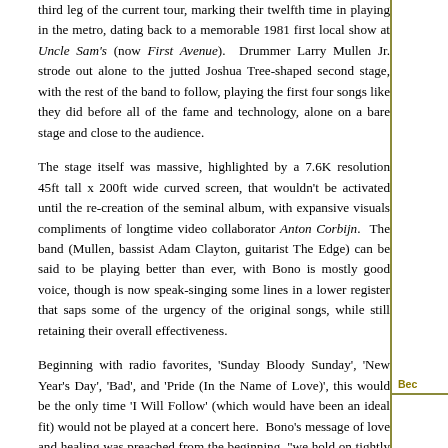third leg of the current tour, marking their twelfth time in playing in the metro, dating back to a memorable 1981 first local show at Uncle Sam's (now First Avenue). Drummer Larry Mullen Jr. strode out alone to the jutted Joshua Tree-shaped second stage, with the rest of the band to follow, playing the first four songs like they did before all of the fame and technology, alone on a bare stage and close to the audience.
The stage itself was massive, highlighted by a 7.6K resolution 45ft tall x 200ft wide curved screen, that wouldn't be activated until the re-creation of the seminal album, with expansive visuals compliments of longtime video collaborator Anton Corbijn. The band (Mullen, bassist Adam Clayton, guitarist The Edge) can be said to be playing better than ever, with Bono is mostly good voice, though is now speak-singing some lines in a lower register that saps some of the urgency of the original songs, while still retaining their overall effectiveness.
Beginning with radio favorites, 'Sunday Bloody Sunday', 'New Year's Day', 'Bad', and 'Pride (In the Name of Love)', this would be the only time 'I Will Follow' (which would have been an ideal fit) would not be played at a concert here. Bono's message of love and healing was preached from the beginning, "we hold on tightly to some things… and let go of others… I need to." he said leading into 'Bad'.
Each of the four then walked back to the main stage, its video backdrop activated with a red sky and tree silhouette and The Edge's signature infinite guitar riff marking the beginning chords of their seminal 1987 album, The Joshua Tree (Island Records).
Bec